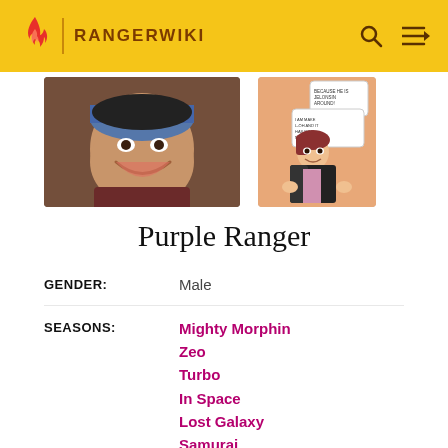RANGERWIKI
[Figure (photo): Two images side by side: left is a live-action photo of a smiling man wearing a bandana; right is a comic illustration of a young person in a jacket]
Purple Ranger
| GENDER: | Male |
| SEASONS: | Mighty Morphin
Zeo
Turbo
In Space
Lost Galaxy
Samurai
Super Samurai |